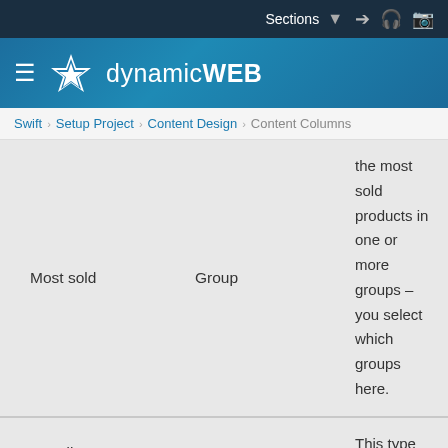Sections
[Figure (logo): DynamicWeb logo with star icon and text 'dynamicWEB']
Swift › Setup Project › Content Design › Content Columns
|  |  |  |
| --- | --- | --- |
| Most sold | Group | the most sold products in one or more groups – you select which groups here. |
| Trending | Group | This type of slider shows trending products in one or more groups – you select which groups here. |